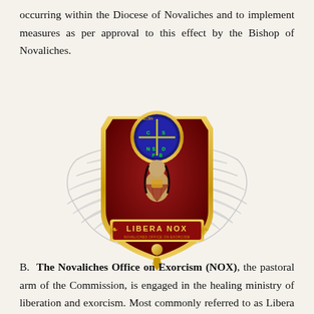occurring within the Diocese of Novaliches and to implement measures as per approval to this effect by the Bishop of Novaliches.
[Figure (logo): LIBERA NOX — Novaliches Office on Exorcism emblem: a maroon and gold shield with large white wings spread on either side, a Saint Benedict medal at the top, a robed figure praying in the center, and a gold banner reading 'LIBERA NOX / NOVALICHES OFFICE ON EXORCISM' at the bottom, with ornate golden scroll work.]
B. The Novaliches Office on Exorcism (NOX), the pastoral arm of the Commission, is engaged in the healing ministry of liberation and exorcism. Most commonly referred to as Libera Nox, it seeks to